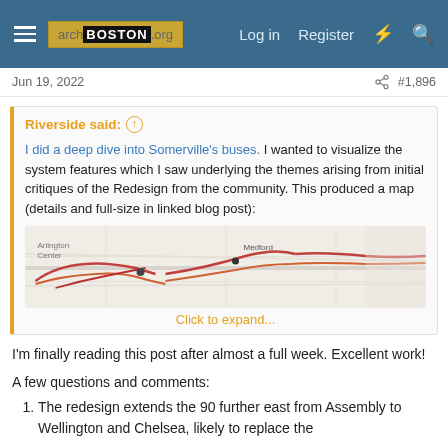archBOSTON.org  Log in  Register
Jun 19, 2022  #1,896
Riverside said: ↑
I did a deep dive into Somerville's buses. I wanted to visualize the system features which I saw underlying the themes arising from initial critiques of the Redesign from the community. This produced a map (details and full-size in linked blog post):
Click to expand...
[Figure (map): Partial map of Somerville bus routes, showing colored route lines overlaid on a street map.]
I'm finally reading this post after almost a full week. Excellent work!
A few questions and comments:
The redesign extends the 90 further east from Assembly to Wellington and Chelsea, likely to replace the